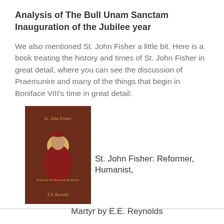Analysis of The Bull Unam Sanctam
Inauguration of the Jubilee year
We also mentioned St. John Fisher a little bit. Here is a book treating the history and times of St. John Fisher in great detail, where you can see the discussion of Praemunire and many of the things that begin in Boniface VIII's time in great detail:
[Figure (photo): Book cover of 'St. John Fisher: Reformer, Humanist, Martyr' by E.E. Reynolds. Dark brown cover with an image of St. John Fisher in red cardinal robes with a halo, and subtitle text 'Reformer & Humanist & Martyr'.]
St. John Fisher: Reformer, Humanist, Martyr by E.E. Reynolds